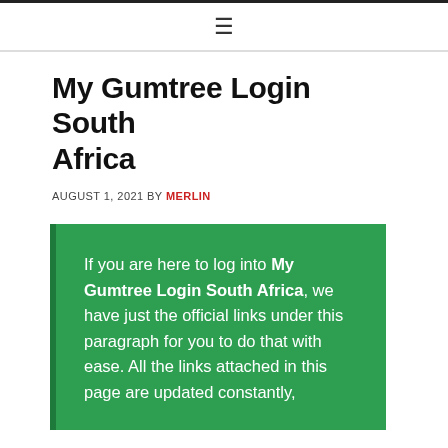☰
My Gumtree Login South Africa
AUGUST 1, 2021 BY MERLIN
If you are here to log into My Gumtree Login South Africa, we have just the official links under this paragraph for you to do that with ease. All the links attached in this page are updated constantly,